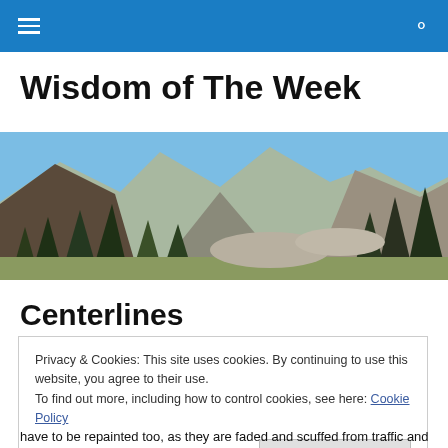☰ (menu icon) | 🔍 (search icon)
Wisdom of The Week
[Figure (photo): Landscape photo of mountain peaks with evergreen trees in the foreground and a clear blue sky in the background.]
Centerlines
Privacy & Cookies: This site uses cookies. By continuing to use this website, you agree to their use.
To find out more, including how to control cookies, see here: Cookie Policy

[Close and accept]
have to be repainted too, as they are faded and scuffed from traffic and